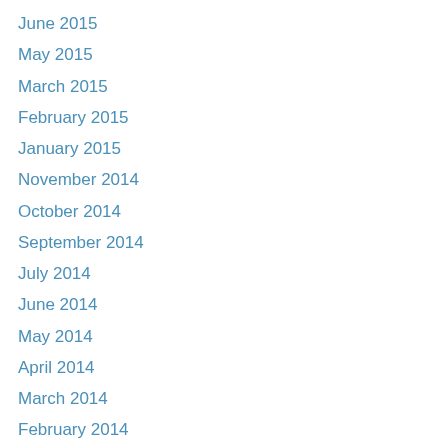June 2015
May 2015
March 2015
February 2015
January 2015
November 2014
October 2014
September 2014
July 2014
June 2014
May 2014
April 2014
March 2014
February 2014
January 2014
December 2013
November 2013
October 2013
September 2013
August 2013